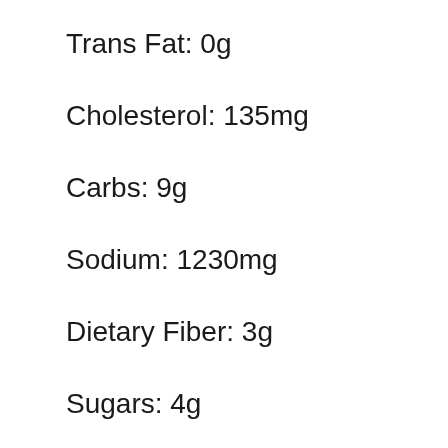Trans Fat: 0g
Cholesterol: 135mg
Carbs: 9g
Sodium: 1230mg
Dietary Fiber: 3g
Sugars: 4g
Vitamin A: 180% DV